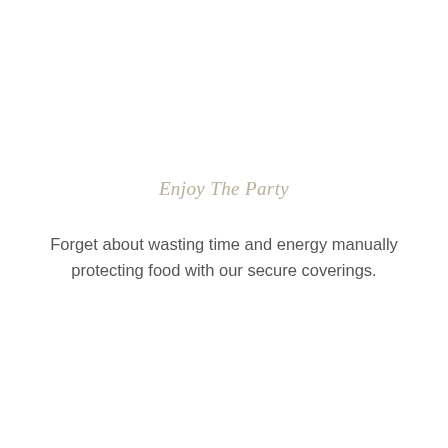Enjoy The Party
Forget about wasting time and energy manually protecting food with our secure coverings.